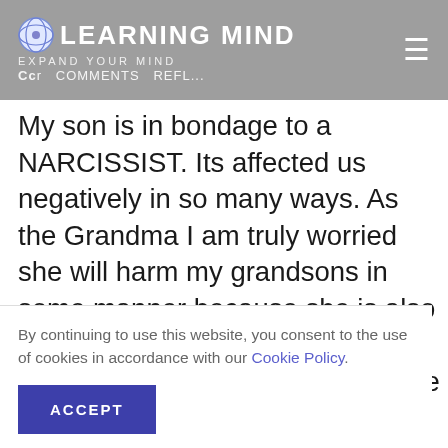LEARNING MIND — EXPAND YOUR MIND
My son is in bondage to a NARCISSIST. Its affected us negatively in so many ways. As the Grandma I am truly worried she will harm my grandsons in some manner because she is also a bi-sexual who has a preference for females rather then males. She holds men in malicious contempt and because trol. ill never babysit doesnt sm. He ds at
By continuing to use this website, you consent to the use of cookies in accordance with our Cookie Policy.
ACCEPT